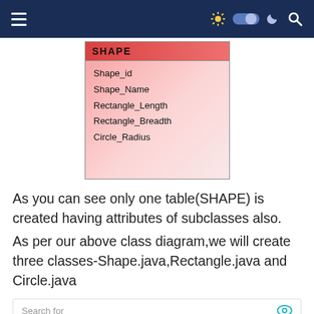[Figure (other): Database schema diagram showing SHAPE table with fields: Shape_id, Shape_Name, Rectangle_Length, Rectangle_Breadth, Circle_Radius]
As you can see only one table(SHAPE) is created having attributes of subclasses also.
As per our above class diagram,we will create three classes-Shape.java,Rectangle.java and Circle.java
Search for
1. KLEIDER FÜR FRAUEN ÜBER 50
2. MEILLEUR DENTIFRICE